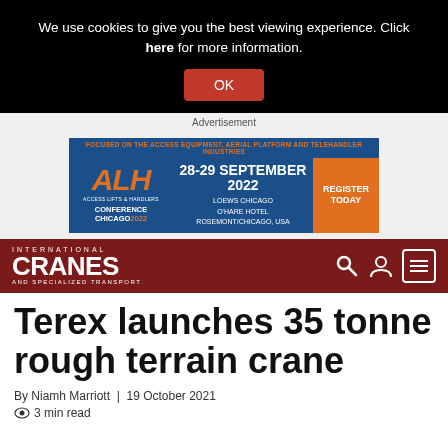We use cookies to give you the best viewing experience. Click here for more information.
OK
Advertisement
[Figure (infographic): ALH Access Lifts & Handlers Conference Chicago 2022 advertisement banner. 28-29 September 2022. Loews Chicago O'Hare Hotel, Rosemont/Chicago, USA. Register Today button.]
[Figure (logo): International Cranes and Specialized Transport logo with navigation icons (search, user, menu) on dark red background]
Terex launches 35 tonne rough terrain crane
By Niamh Marriott  |  19 October 2021
3 min read